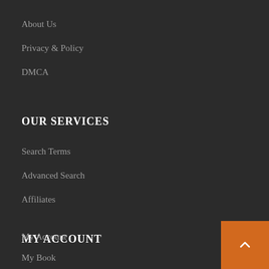About Us
Privacy & Policy
DMCA
OUR SERVICES
Search Terms
Advanced Search
Affiliates
MY ACCOUNT
My Account
My Book